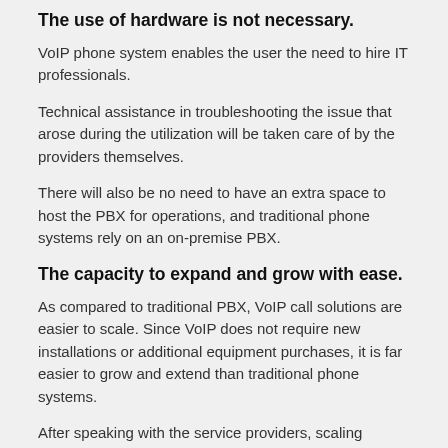The use of hardware is not necessary.
VoIP phone system enables the user the need to hire IT professionals.
Technical assistance in troubleshooting the issue that arose during the utilization will be taken care of by the providers themselves.
There will also be no need to have an extra space to host the PBX for operations, and traditional phone systems rely on an on-premise PBX.
The capacity to expand and grow with ease.
As compared to traditional PBX, VoIP call solutions are easier to scale. Since VoIP does not require new installations or additional equipment purchases, it is far easier to grow and extend than traditional phone systems.
After speaking with the service providers, scaling